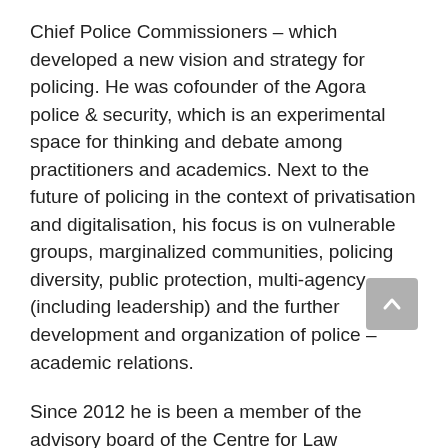Chief Police Commissioners – which developed a new vision and strategy for policing. He was cofounder of the Agora police & security, which is an experimental space for thinking and debate among practitioners and academics. Next to the future of policing in the context of privatisation and digitalisation, his focus is on vulnerable groups, marginalized communities, policing diversity, public protection, multi-agency (including leadership) and the further development and organization of police – academic relations.
Since 2012 he is been a member of the advisory board of the Centre for Law Enforcement and Public Health (CLEPH) in Melbourne (Australia). He was heavily involved in organizing the second & third International Conference on Law Enforcement and Public Health (LEPH 2014 & 2016, Amsterdam) and was a member of the program committee for the conferences in Toronto (2018), Edinburgh (2019) and Philadelphia (2021). He is a member of the board of the Global